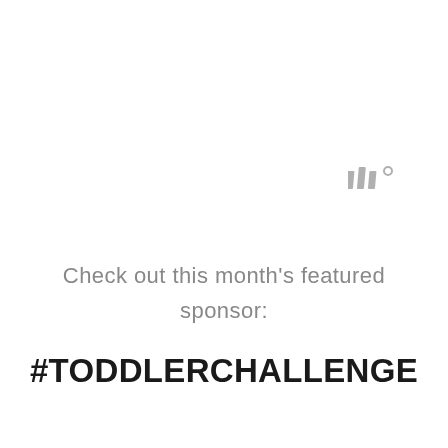[Figure (logo): Small gray logo resembling stylized letter M with a degree symbol, positioned in the upper right area]
Check out this month's featured sponsor:
#TODDLERCHALLENGE